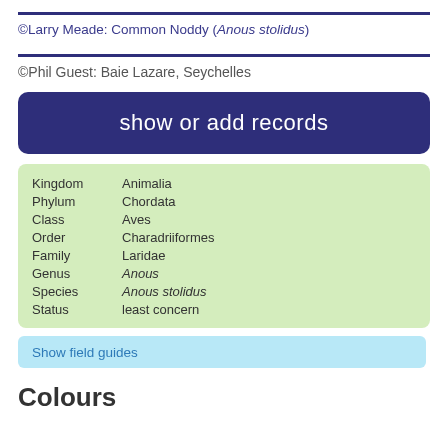©Larry Meade: Common Noddy (Anous stolidus)
©Phil Guest: Baie Lazare, Seychelles
show or add records
|  |  |
| --- | --- |
| Kingdom | Animalia |
| Phylum | Chordata |
| Class | Aves |
| Order | Charadriiformes |
| Family | Laridae |
| Genus | Anous |
| Species | Anous stolidus |
| Status | least concern |
Show field guides
Colours